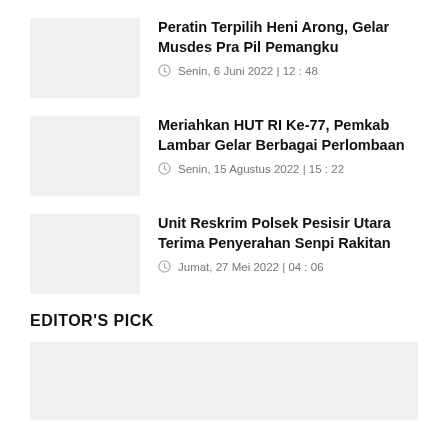Peratin Terpilih Heni Arong, Gelar Musdes Pra Pil Pemangku | Senin, 6 Juni 2022 | 12 : 48
Meriahkan HUT RI Ke-77, Pemkab Lambar Gelar Berbagai Perlombaan | Senin, 15 Agustus 2022 | 15 : 22
Unit Reskrim Polsek Pesisir Utara Terima Penyerahan Senpi Rakitan | Jumat, 27 Mei 2022 | 04 : 06
EDITOR'S PICK
[Figure (photo): Placeholder image for editor's pick featured article]